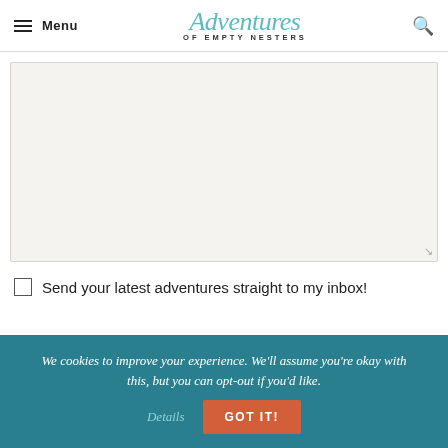Menu | Adventures OF EMPTY NESTERS | [search]
[Figure (other): Large empty textarea input field with light beige background and resize handle in bottom right corner]
Send your latest adventures straight to my inbox!
We cookies to improve your experience. We'll assume you're okay with this, but you can opt-out if you'd like. Details GOT IT!